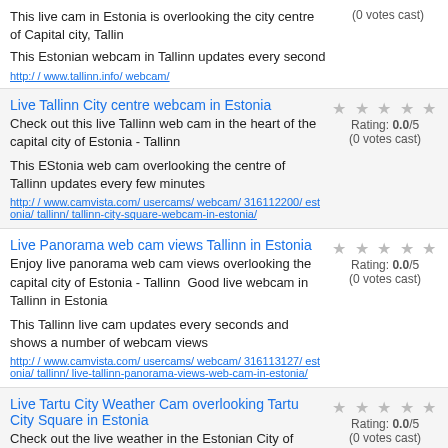This live cam in Estonia is overlooking the city centre of Capital city, Tallin
(0 votes cast)
This Estonian webcam in Tallinn updates every second
http://www.tallinn.info/webcam/
Live Tallinn City centre webcam in Estonia
Check out this live Tallinn web cam in the heart of the capital city of Estonia - Tallinn
Rating: 0.0/5 (0 votes cast)
This EStonia web cam overlooking the centre of Tallinn updates every few minutes
http://www.camvista.com/usercams/webcam/316112200/estonia/tallinn/tallinn-city-square-webcam-in-estonia/
Live Panorama web cam views Tallinn in Estonia
Enjoy live panorama web cam views overlooking the capital city of Estonia - Tallinn  Good live webcam in Tallinn in Estonia
Rating: 0.0/5 (0 votes cast)
This Tallinn live cam updates every seconds and shows a number of webcam views
http://www.camvista.com/usercams/webcam/316113127/estonia/tallinn/live-tallinn-panorama-views-web-cam-in-estonia/
Live Tartu City Weather Cam overlooking Tartu City Square in Estonia
Check out the live weather in the Estonian City of Tartu by watching this streaming live Tartu City
Rating: 0.0/5 (0 votes cast)